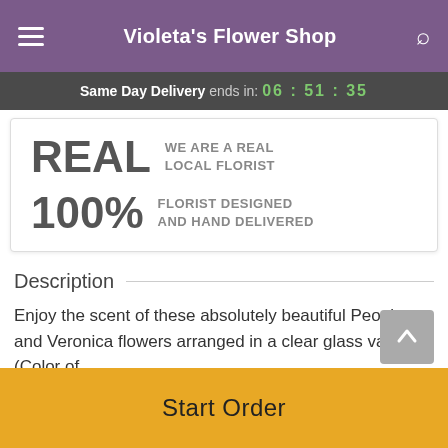Violeta's Flower Shop
Same Day Delivery ends in: 06 : 51 : 35
REAL WE ARE A REAL LOCAL FLORIST
100% FLORIST DESIGNED AND HAND DELIVERED
Description
Enjoy the scent of these absolutely beautiful Peonies and Veronica flowers arranged in a clear glass vase. (Color of
Start Order